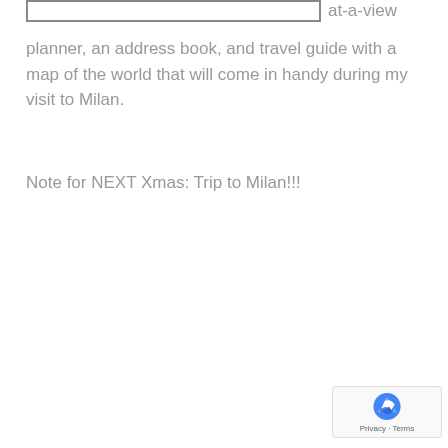[Figure (other): Rectangular image placeholder box at top left]
at-a-view planner, an address book, and travel guide with a map of the world that will come in handy during my visit to Milan.
Note for NEXT Xmas: Trip to Milan!!!